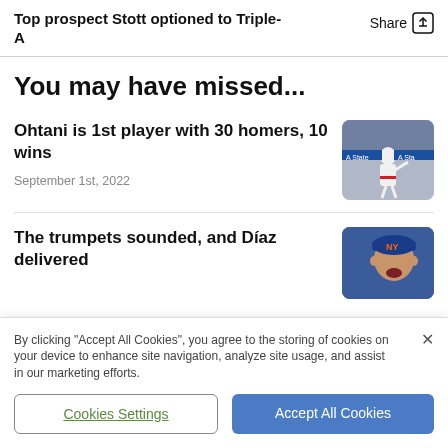Top prospect Stott optioned to Triple-A
You may have missed...
Ohtani is 1st player with 30 homers, 10 wins
September 1st, 2022
[Figure (photo): Baseball player batting, wearing white uniform]
The trumpets sounded, and Díaz delivered
[Figure (photo): Baseball pitcher wearing blue and orange Mets cap, mouth open]
By clicking "Accept All Cookies", you agree to the storing of cookies on your device to enhance site navigation, analyze site usage, and assist in our marketing efforts.
Cookies Settings
Accept All Cookies